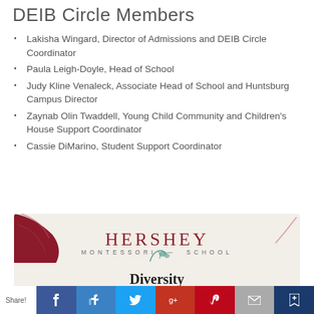DEIB Circle Members
Lakisha Wingard, Director of Admissions and DEIB Circle Coordinator
Paula Leigh-Doyle, Head of School
Judy Kline Venaleck, Associate Head of School and Huntsburg Campus Director
Zaynab Olin Twaddell, Young Child Community and Children's House Support Coordinator
Cassie DiMarino, Student Support Coordinator
[Figure (logo): Hershey Montessori School logo on cream background with dark red decorative shapes, text reads HERSHEY MONTESSORI SCHOOL with leaf motif, and 'Diversity' text below]
Share! [Facebook] [Like] [Twitter] [Google+] [Pinterest] [Email] [Bookmark]